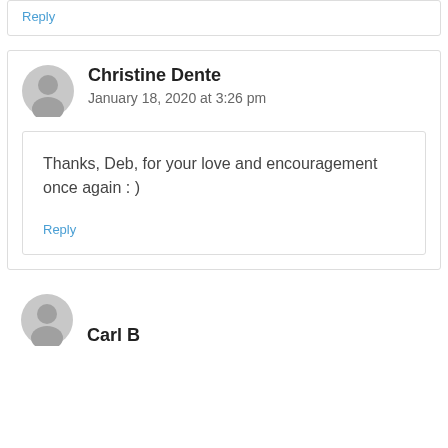Reply
Christine Dente
January 18, 2020 at 3:26 pm
Thanks, Deb, for your love and encouragement once again : )
Reply
Carl B